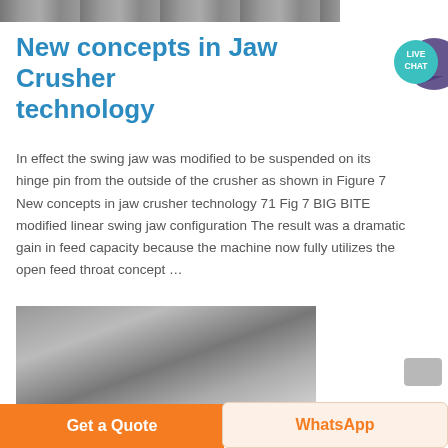[Figure (photo): Partial view of industrial machinery at top of page, cut off]
New concepts in Jaw Crusher technology
[Figure (illustration): Live Chat speech bubble icon with teal/purple coloring]
In effect the swing jaw was modified to be suspended on its hinge pin from the outside of the crusher as shown in Figure 7 New concepts in jaw crusher technology 71 Fig 7 BIG BITE modified linear swing jaw configuration The result was a dramatic gain in feed capacity because the machine now fully utilizes the open feed throat concept …
[Figure (photo): Industrial machinery interior showing large white funnel/hopper equipment inside a steel-framed building]
Get a Quote
WhatsApp